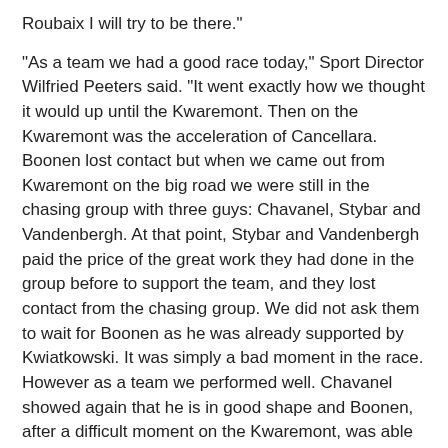Roubaix I will try to be there."

"As a team we had a good race today," Sport Director Wilfried Peeters said. "It went exactly how we thought it would up until the Kwaremont. Then on the Kwaremont was the acceleration of Cancellara. Boonen lost contact but when we came out from Kwaremont on the big road we were still in the chasing group with three guys: Chavanel, Stybar and Vandenbergh. At that point, Stybar and Vandenbergh paid the price of the great work they had done in the group before to support the team, and they lost contact from the chasing group. We did not ask them to wait for Boonen as he was already supported by Kwiatkowski. It was simply a bad moment in the race. However as a team we performed well. Chavanel showed again that he is in good shape and Boonen, after a difficult moment on the Kwaremont, was able to recover and take the 7th place with a strong sprint. On Sunday we will try again to get a good result counting on Mark Cavendish."